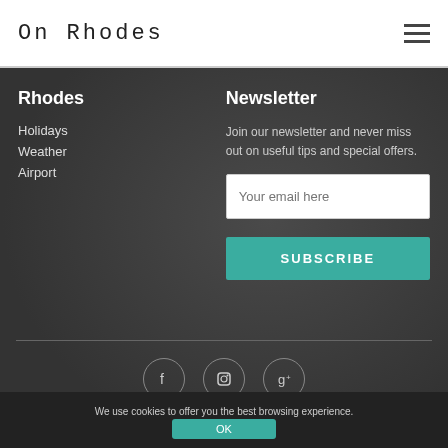On Rhodes
Rhodes
Holidays
Weather
Airport
Newsletter
Join our newsletter and never miss out on useful tips and special offers.
Your email here
SUBSCRIBE
[Figure (other): Social media icons: Facebook, Instagram, Google+]
We use cookies to offer you the best browsing experience.
OK